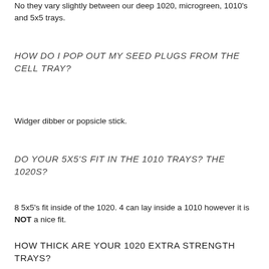No they vary slightly between our deep 1020, microgreen, 1010's and 5x5 trays.
HOW DO I POP OUT MY SEED PLUGS FROM THE CELL TRAY?
Widger dibber or popsicle stick.
DO YOUR 5X5'S FIT IN THE 1010 TRAYS? THE 1020S?
8 5x5's fit inside of the 1020. 4 can lay inside a 1010 however it is NOT a nice fit.
HOW THICK ARE YOUR 1020 EXTRA STRENGTH TRAYS?